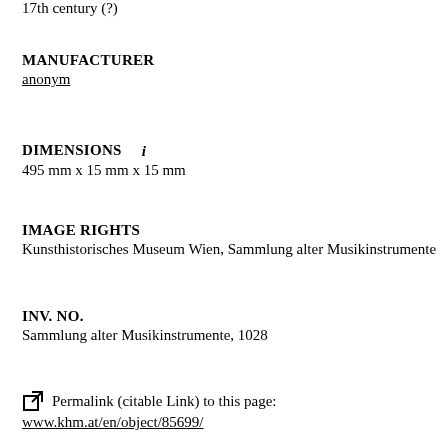17th century (?)
MANUFACTURER
anonym
DIMENSIONS
495 mm x 15 mm x 15 mm
IMAGE RIGHTS
Kunsthistorisches Museum Wien, Sammlung alter Musikinstrumente
INV. NO.
Sammlung alter Musikinstrumente, 1028
Permalink (citable Link) to this page: www.khm.at/en/object/85699/